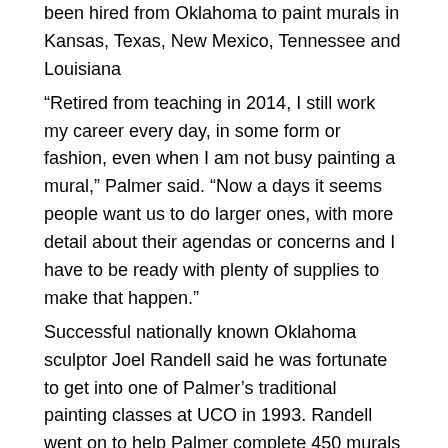been hired from Oklahoma to paint murals in Kansas, Texas, New Mexico, Tennessee and Louisiana
“Retired from teaching in 2014, I still work my career every day, in some form or fashion, even when I am not busy painting a mural,” Palmer said. “Now a days it seems people want us to do larger ones, with more detail about their agendas or concerns and I have to be ready with plenty of supplies to make that happen.”
Successful nationally known Oklahoma sculptor Joel Randell said he was fortunate to get into one of Palmer’s traditional painting classes at UCO in 1993. Randell went on to help Palmer complete 450 murals around the state.
“His quiet insistence that I trust my talent, telling us to paint big during the semester helped me learn to paint in an impactful way to create colorful and lifelike murals.” Randell said. “I think that Bob can serve as an inspiration for all of us of the power of mentoring a new generation of artists. The new budgeting for public art across our communities is